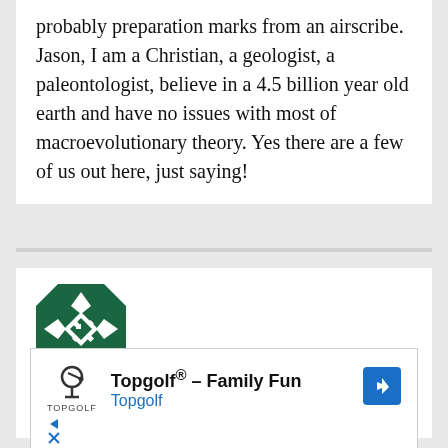probably preparation marks from an airscribe. Jason, I am a Christian, a geologist, a paleontologist, believe in a 4.5 billion year old earth and have no issues with most of macroevolutionary theory. Yes there are a few of us out here, just saying!
[Figure (illustration): Green and white geometric avatar/profile picture icon with diamond and arrow shapes on dark green background]
Dorothy Kirkconnell | May 10, 2020 at 12:11 am
[Figure (screenshot): Advertisement overlay: Topgolf® - Family Fun, Topgolf, with logo and navigation arrow]